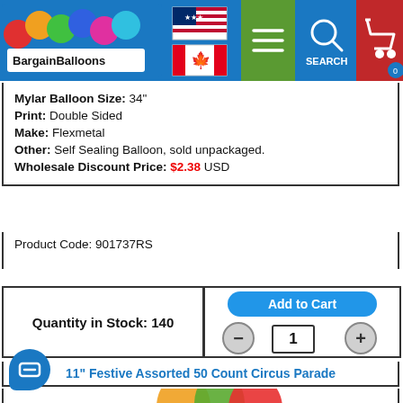[Figure (screenshot): BargainBalloons website header with logo, US and Canadian flags, hamburger menu, search, and cart buttons]
Mylar Balloon Size: 34"
Print: Double Sided
Make: Flexmetal
Other: Self Sealing Balloon, sold unpackaged.
Wholesale Discount Price: $2.38 USD
Product Code: 901737RS
Quantity in Stock: 140
[Figure (illustration): Add to Cart button with quantity minus/plus controls and input field showing 1]
11" Festive Assorted 50 Count Circus Parade
[Figure (photo): Colorful assorted circus parade balloons — orange, green, red with circus designs]